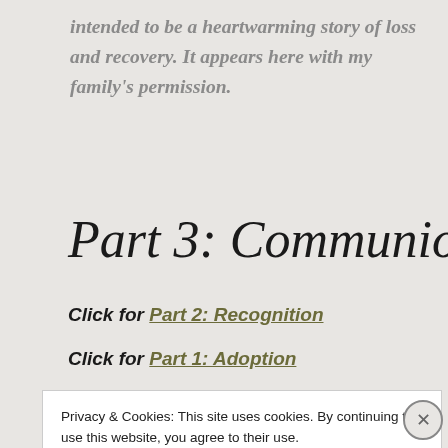intended to be a heartwarming story of loss and recovery. It appears here with my family's permission.
Part 3: Communion
Click for Part 2: Recognition
Click for Part 1: Adoption
Privacy & Cookies: This site uses cookies. By continuing to use this website, you agree to their use.
To find out more, including how to control cookies, see here: Cookie Policy
Close and accept